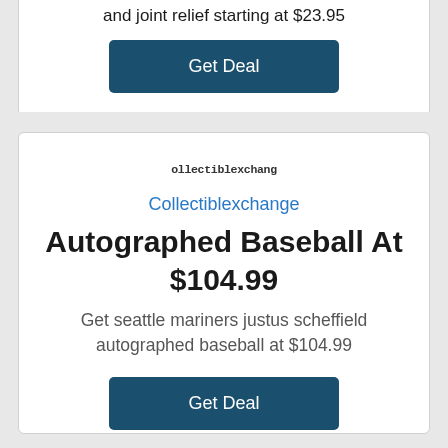and joint relief starting at $23.95
Get Deal
collectiblexchange
Collectiblexchange
Autographed Baseball At $104.99
Get seattle mariners justus scheffield autographed baseball at $104.99
Get Deal